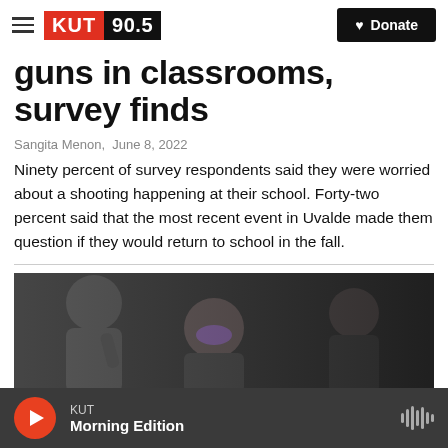KUT 90.5 — Donate
guns in classrooms, survey finds
Sangita Menon,  June 8, 2022
Ninety percent of survey respondents said they were worried about a shooting happening at their school. Forty-two percent said that the most recent event in Uvalde made them question if they would return to school in the fall.
[Figure (photo): People wearing masks gathered together, likely at a school or community event, in a dark setting.]
KUT — Morning Edition